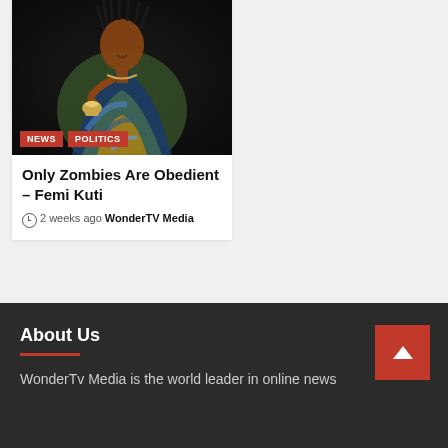[Figure (photo): A person in colorful blue and gold traditional attire, seated, holding what appears to be a brass instrument or vessel, photographed against a dark background. Category tags NEWS and POLITICS overlay the bottom of the image.]
Only Zombies Are Obedient – Femi Kuti
2 weeks ago WonderTV Media
About Us
WonderTv Media is the world leader in online news